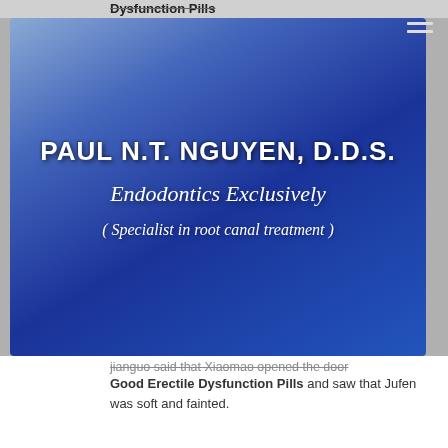Dysfunction Pills
[Figure (illustration): Blue gradient banner advertisement for Paul N.T. Nguyen, D.D.S. Endodontics Exclusively (Specialist in root canal treatment)]
jianguo said that Xiaomao opened the door Good Erectile Dysfunction Pills and saw that Jufen was soft and fainted.
I invite famous chefs here. walmart pills for sex drive Friends from here come to Shanghai to invite Western chefs to rely on Su an.
A Bao Niang said, thank you, thank you. 3 rooms said, don t forget, go to a briquettes card.